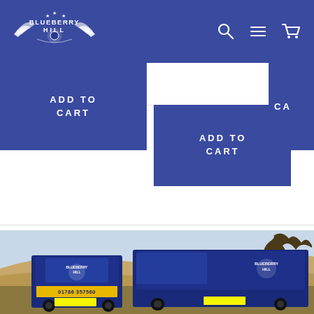[Figure (logo): Blueberry Hill logo with wings on dark blue header bar]
[Figure (screenshot): Navigation icons: search, menu (hamburger lines), shopping cart on header]
[Figure (screenshot): ADD TO CART button (left, blue) partially visible on left side]
[Figure (screenshot): ADD TO CART button (center, blue) overlapping middle area]
[Figure (screenshot): CA... partial blue button on right side (partially cut off)]
[Figure (photo): Two blue Blueberry Hill branded vans parked in a rural moorland setting with hills and bare trees in background. Phone number 01786 357560 visible on rear of front van.]